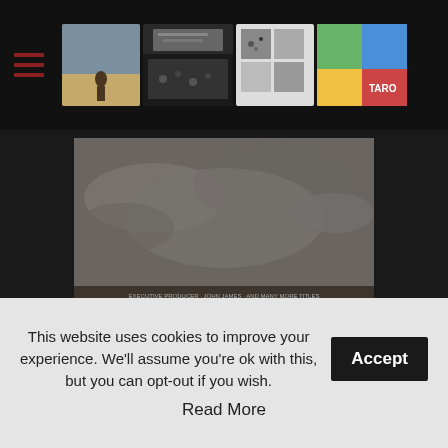[Figure (screenshot): Website navigation bar with hamburger menu icon and row of thumbnail images of film/media projects]
[Figure (photo): Movie poster for 'Four Weeks Four Hours', a film by Alexis van Hurkman. Shows desert landscape with cracked earth and small figures. Black and white/sepia toned.]
My debut feature had seven festival screenings internationally from 2005-2008. Two women are stranded in the desert on opposite ends of the earth. When her plane crashes, a photographer on assignment finds herself lost and alone in a war-torn middle-eastern
This website uses cookies to improve your experience. We'll assume you're ok with this, but you can opt-out if you wish.
Accept
Read More